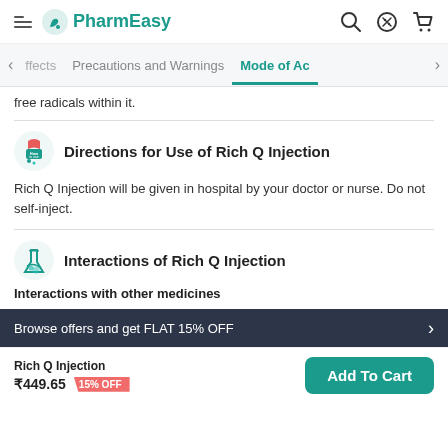PharmEasy
Precautions and Warnings | Mode of Ac
free radicals within it.
Directions for Use of Rich Q Injection
Rich Q Injection will be given in hospital by your doctor or nurse. Do not self-inject.
Interactions of Rich Q Injection
Interactions with other medicines
Browse offers and get FLAT 15% OFF
Rich Q Injection ₹449.65 15% OFF
Add To Cart